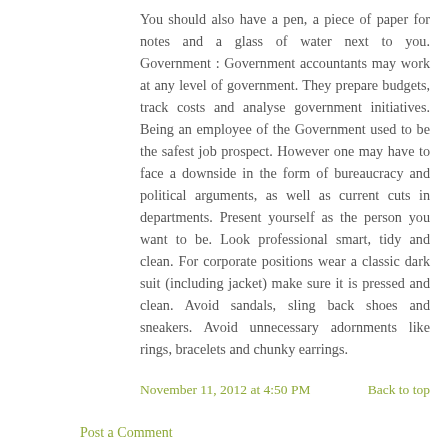You should also have a pen, a piece of paper for notes and a glass of water next to you. Government : Government accountants may work at any level of government. They prepare budgets, track costs and analyse government initiatives. Being an employee of the Government used to be the safest job prospect. However one may have to face a downside in the form of bureaucracy and political arguments, as well as current cuts in departments. Present yourself as the person you want to be. Look professional smart, tidy and clean. For corporate positions wear a classic dark suit (including jacket) make sure it is pressed and clean. Avoid sandals, sling back shoes and sneakers. Avoid unnecessary adornments like rings, bracelets and chunky earrings.
November 11, 2012 at 4:50 PM
Back to top
Post a Comment